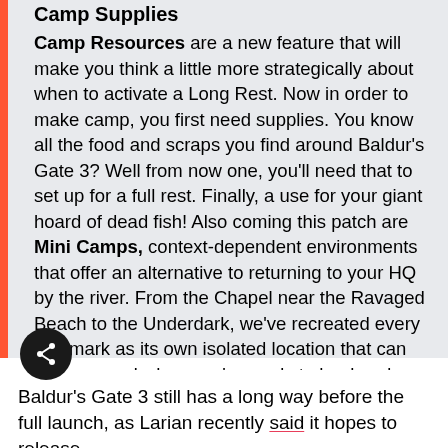Camp Supplies
Camp Resources are a new feature that will make you think a little more strategically about when to activate a Long Rest. Now in order to make camp, you first need supplies. You know all the food and scraps you find around Baldur's Gate 3? Well from now one, you'll need that to set up for a full rest. Finally, a use for your giant hoard of dead fish! Also coming this patch are Mini Camps, context-dependent environments that offer an alternative to returning to your HQ by the river. From the Chapel near the Ravaged Beach to the Underdark, we've recreated every landmark as its own isolated location that can be accessed when you're ready to hunker down for your Long Rest.
Baldur's Gate 3 still has a long way before the full launch, as Larian recently said it hopes to release